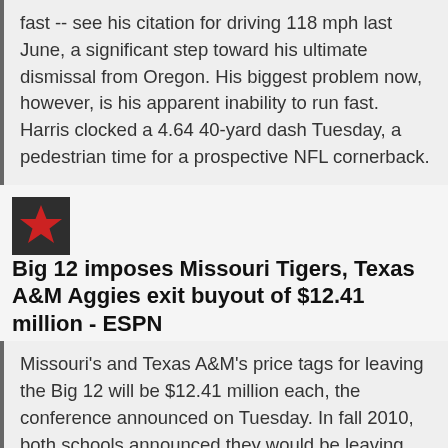fast -- see his citation for driving 118 mph last June, a significant step toward his ultimate dismissal from Oregon. His biggest problem now, however, is his apparent inability to run fast. Harris clocked a 4.64 40-yard dash Tuesday, a pedestrian time for a prospective NFL cornerback.
Big 12 imposes Missouri Tigers, Texas A&M Aggies exit buyout of $12.41 million - ESPN
Missouri's and Texas A&M's price tags for leaving the Big 12 will be $12.41 million each, the conference announced on Tuesday. In fall 2010, both schools announced they would be leaving the Big 12 on July 1, 2012. Conference bylaws state that universities that provide less than 12 months' notice